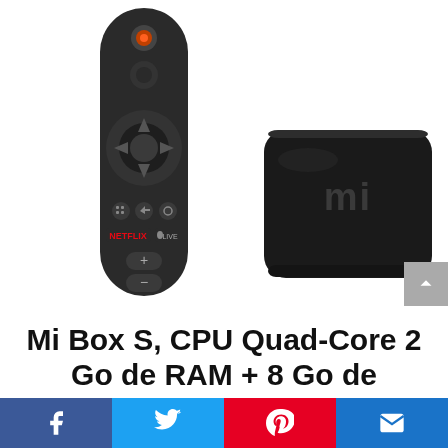[Figure (photo): Product photo showing a Xiaomi Mi Box S (black set-top box with Mi logo) and its black voice remote control on a white background]
Mi Box S, CPU Quad-Core 2 Go de RAM + 8 Go de
[Figure (infographic): Social sharing bar with four buttons: Facebook (blue), Twitter (light blue), Pinterest (red), Email (dark blue)]